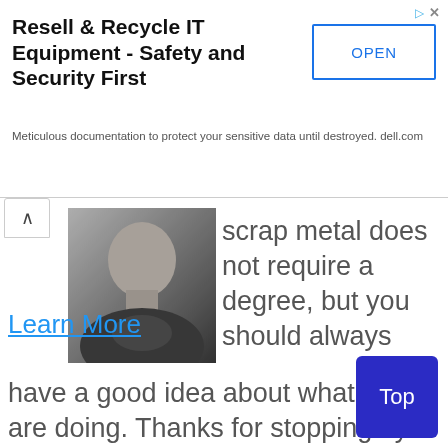Resell & Recycle IT Equipment - Safety and Security First
Meticulous documentation to protect your sensitive data until destroyed. dell.com
[Figure (photo): Black and white photo of a person, showing lower face and neck/shoulder area]
scrap metal does not require a degree, but you should always have a good idea about what you are doing. Thanks for stopping by and allowing me to help you, let's get started!
Learn More
Top